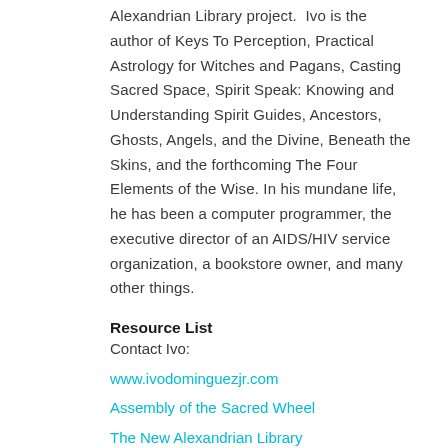Alexandrian Library project.  Ivo is the author of Keys To Perception, Practical Astrology for Witches and Pagans, Casting Sacred Space, Spirit Speak: Knowing and Understanding Spirit Guides, Ancestors, Ghosts, Angels, and the Divine, Beneath the Skins, and the forthcoming The Four Elements of the Wise. In his mundane life, he has been a computer programmer, the executive director of an AIDS/HIV service organization, a bookstore owner, and many other things.
Resource List
Contact Ivo:
www.ivodominguezjr.com
Assembly of the Sacred Wheel
The New Alexandrian Library
United Way of East Central Iowa